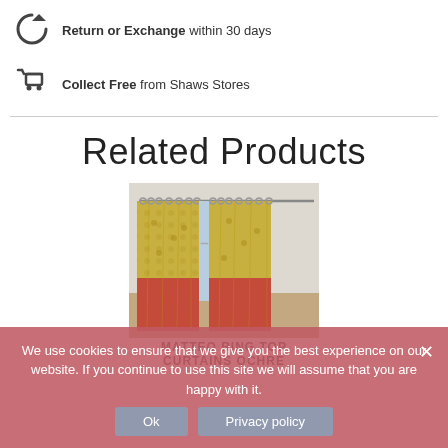Return or Exchange within 30 days
Collect Free from Shaws Stores
Related Products
[Figure (photo): Product photo of Matteo Ring Top Curtains in Ochre color, showing yellow/gold patterned curtains hanging on a rod]
MATTEO RING TOP CURTAINS OCHRE
We use cookies to ensure that we give you the best experience on our website. If you continue to use this site we will assume that you are happy with it.